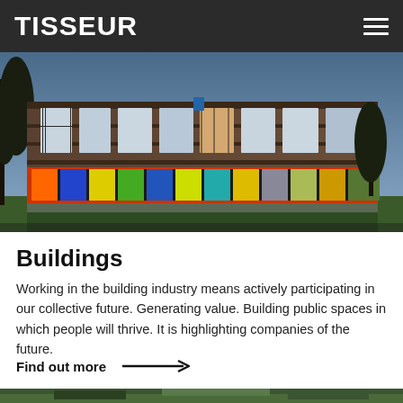TISSEUR
[Figure (photo): Modern two-storey school building with dark brown/wood-clad facade, large windows on upper floor, and colorful floor-to-ceiling windows on ground floor in orange, red, blue, yellow and green. Trees visible on left side, dusk/evening lighting.]
Buildings
Working in the building industry means actively participating in our collective future. Generating value. Building public spaces in which people will thrive. It is highlighting companies of the future.
Find out more →
[Figure (photo): Partial view of another outdoor scene, just the top edge visible at the bottom of the page.]